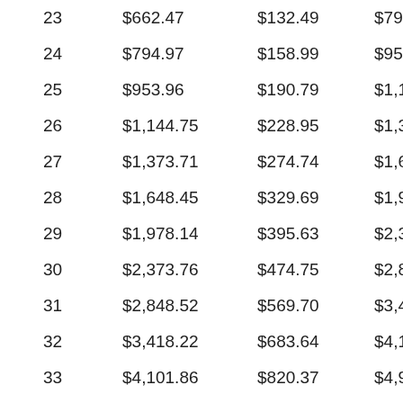| 23 | $662.47 | $132.49 | $794.97 |
| 24 | $794.97 | $158.99 | $953.96 |
| 25 | $953.96 | $190.79 | $1,144.75 |
| 26 | $1,144.75 | $228.95 | $1,373.71 |
| 27 | $1,373.71 | $274.74 | $1,648.45 |
| 28 | $1,648.45 | $329.69 | $1,978.14 |
| 29 | $1,978.14 | $395.63 | $2,373.76 |
| 30 | $2,373.76 | $474.75 | $2,848.52 |
| 31 | $2,848.52 | $569.70 | $3,418.22 |
| 32 | $3,418.22 | $683.64 | $4,101.86 |
| 33 | $4,101.86 | $820.37 | $4,922.24 |